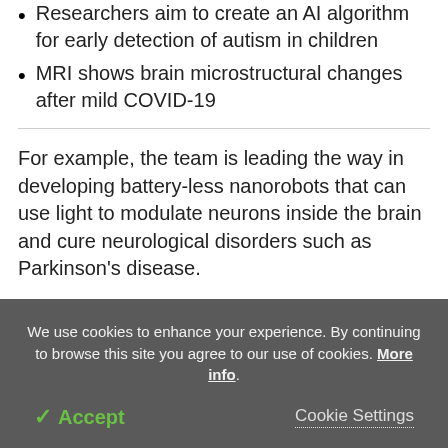Researchers aim to create an AI algorithm for early detection of autism in children
MRI shows brain microstructural changes after mild COVID-19
For example, the team is leading the way in developing battery-less nanorobots that can use light to modulate neurons inside the brain and cure neurological disorders such as Parkinson's disease.
The team is also developing novel AI hardware: A new
We use cookies to enhance your experience. By continuing to browse this site you agree to our use of cookies. More info.
✓ Accept   Cookie Settings